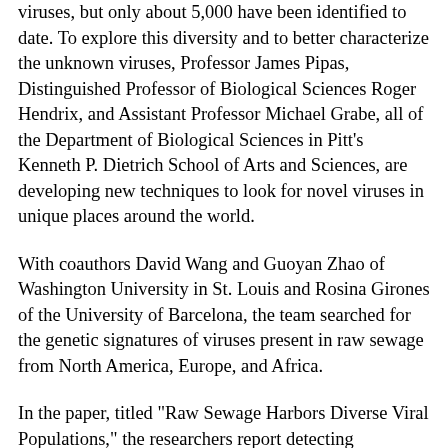viruses, but only about 5,000 have been identified to date. To explore this diversity and to better characterize the unknown viruses, Professor James Pipas, Distinguished Professor of Biological Sciences Roger Hendrix, and Assistant Professor Michael Grabe, all of the Department of Biological Sciences in Pitt's Kenneth P. Dietrich School of Arts and Sciences, are developing new techniques to look for novel viruses in unique places around the world.
With coauthors David Wang and Guoyan Zhao of Washington University in St. Louis and Rosina Girones of the University of Barcelona, the team searched for the genetic signatures of viruses present in raw sewage from North America, Europe, and Africa.
In the paper, titled "Raw Sewage Harbors Diverse Viral Populations," the researchers report detecting signatures from 234 known viruses that represent 26 different families of viruses. This makes raw sewage home to the most diverse